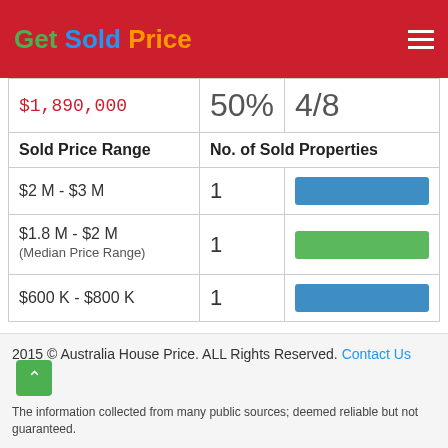Get Sold Price
| Sold Price Range | No. of Sold Properties |  |
| --- | --- | --- |
| $1,890,000 | 50% | 4/8 |
| $2 M - $3 M | 1 | bar |
| $1.8 M - $2 M (Median Price Range) | 1 | bar |
| $600 K - $800 K | 1 | bar |
2015 © Australia House Price. ALL Rights Reserved. Contact Us
The information collected from many public sources; deemed reliable but not guaranteed.